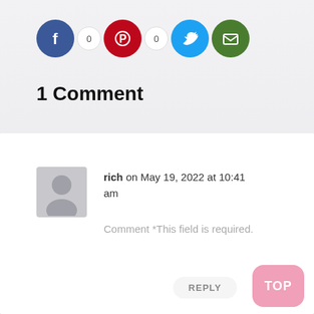[Figure (infographic): Social sharing icons row: Facebook (blue circle), count bubble '0', Pinterest (red circle), count bubble '0', Twitter (blue circle), Email (green circle)]
1 Comment
[Figure (illustration): Generic user avatar silhouette in gray rounded rectangle]
rich on May 19, 2022 at 10:41 am
Comment *This field is required.
REPLY
TOP